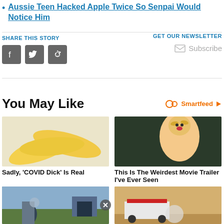Aussie Teen Hacked Apple Twice So Senpai Would Notice Him
SHARE THIS STORY
GET OUR NEWSLETTER
Subscribe
You May Like
[Figure (photo): Smartfeed logo with infinity and play icons]
[Figure (photo): Two yellow banana peels on a white marble surface]
Sadly, 'COVID Dick' Is Real
[Figure (photo): An inflatable doll with blonde hair and red lips against a dark background]
This Is The Weirdest Movie Trailer I've Ever Seen
[Figure (photo): Person standing next to a car with mountains in background]
[Figure (photo): White convertible car driving on a sandy road]